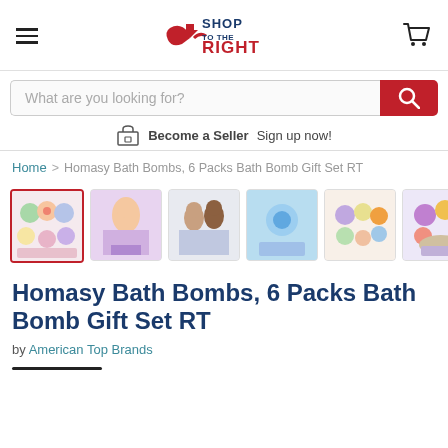[Figure (logo): Shop To The Right logo with red arrow and cart icon]
[Figure (screenshot): Search bar with placeholder text and red search button]
Become a Seller  Sign up now!
Home > Homasy Bath Bombs, 6 Packs Bath Bomb Gift Set RT
[Figure (photo): Six product thumbnail images of bath bomb sets]
Homasy Bath Bombs, 6 Packs Bath Bomb Gift Set RT
by American Top Brands